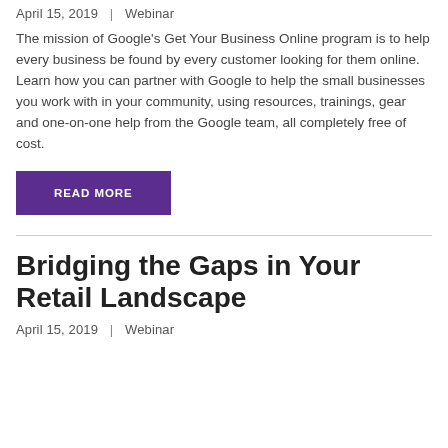April 15, 2019  |  Webinar
The mission of Google's Get Your Business Online program is to help every business be found by every customer looking for them online. Learn how you can partner with Google to help the small businesses you work with in your community, using resources, trainings, gear and one-on-one help from the Google team, all completely free of cost.
READ MORE
Bridging the Gaps in Your Retail Landscape
April 15, 2019  |  Webinar